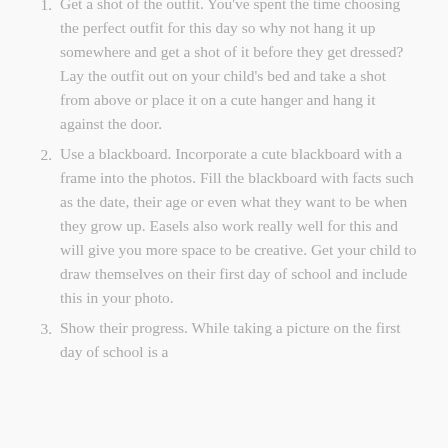Get a shot of the outfit. You've spent the time choosing the perfect outfit for this day so why not hang it up somewhere and get a shot of it before they get dressed? Lay the outfit out on your child's bed and take a shot from above or place it on a cute hanger and hang it against the door.
Use a blackboard. Incorporate a cute blackboard with a frame into the photos. Fill the blackboard with facts such as the date, their age or even what they want to be when they grow up. Easels also work really well for this and will give you more space to be creative. Get your child to draw themselves on their first day of school and include this in your photo.
Show their progress. While taking a picture on the first day of school is a